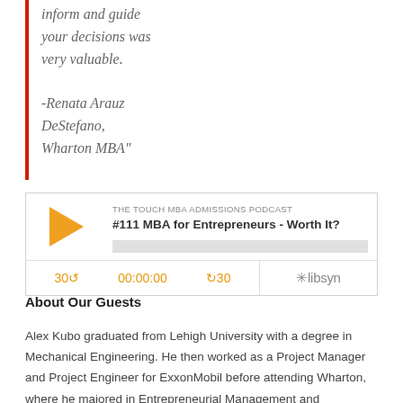inform and guide your decisions was very valuable.

-Renata Arauz DeStefano, Wharton MBA"
[Figure (other): Podcast player widget for 'THE TOUCH MBA ADMISSIONS PODCAST - #111 MBA for Entrepreneurs - Worth It?' with play button, progress bar, time controls (30 back, 00:00:00, forward 30), and libsyn branding]
About Our Guests
Alex Kubo graduated from Lehigh University with a degree in Mechanical Engineering. He then worked as a Project Manager and Project Engineer for ExxonMobil before attending Wharton, where he majored in Entrepreneurial Management and Marketing. After a